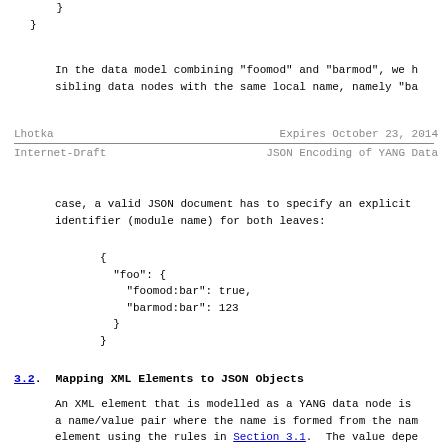}
}
In the data model combining "foomod" and "barmod", we h sibling data nodes with the same local name, namely "ba
Lhotka                    Expires October 23, 2014
Internet-Draft          JSON Encoding of YANG Data
case, a valid JSON document has to specify an explicit identifier (module name) for both leaves:
{
  "foo": {
    "foomod:bar": true,
    "barmod:bar": 123
  }
}
3.2. Mapping XML Elements to JSON Objects
An XML element that is modelled as a YANG data node is a name/value pair where the name is formed from the nam element using the rules in Section 3.1. The value depe type of the data node as specified in the following sec